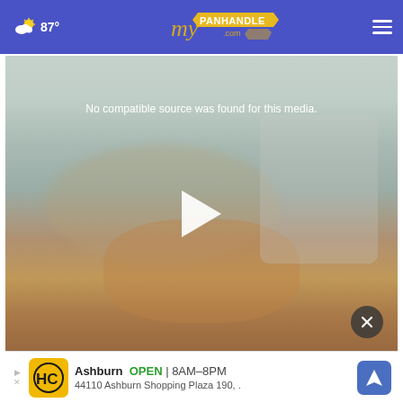[Figure (screenshot): myPanhandle.com website navigation bar with weather widget showing partly cloudy icon and 87°, centered logo, and hamburger menu icon on blue background]
[Figure (screenshot): Video player with blurred food/cooking background image showing 'No compatible source was found for this media.' text, a white play button triangle in center, and an X close button at bottom right]
[Figure (screenshot): Advertisement banner for a business in Ashburn showing HC logo, OPEN 8AM-8PM, address 44110 Ashburn Shopping Plaza 190, with navigation arrow icon]